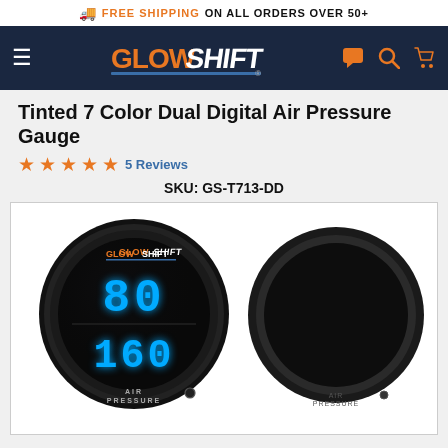FREE SHIPPING ON ALL ORDERS OVER 50+
[Figure (logo): GlowShift logo in navigation bar with hamburger menu, chat, search, and cart icons]
Tinted 7 Color Dual Digital Air Pressure Gauge
★★★★★ 5 Reviews
SKU: GS-T713-DD
[Figure (photo): Two GlowShift Tinted 7 Color Dual Digital Air Pressure Gauges side by side. The front gauge shows blue LED digital readings of 80 and 160 with AIR PRESSURE label at the bottom. The rear gauge shows the reverse side. Both have black bezels and tinted lenses.]